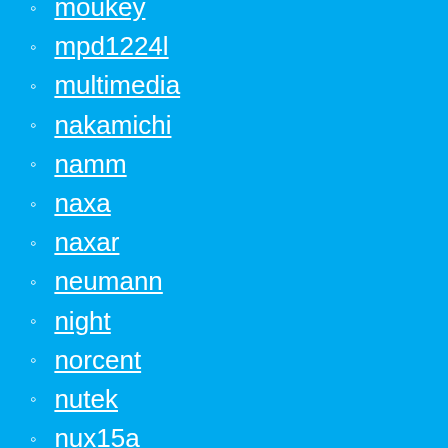moukey
mpd1224l
multimedia
nakamichi
namm
naxa
naxar
neumann
night
norcent
nutek
nux15a
omnitronic
outdoor
overview